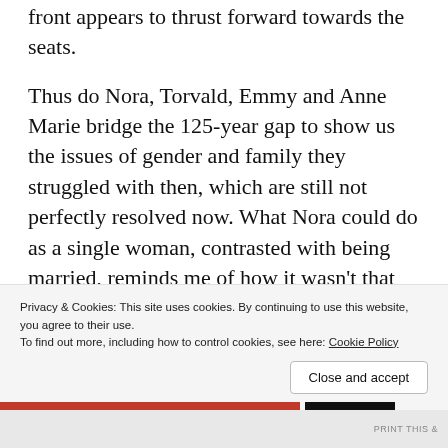front appears to thrust forward towards the seats.
Thus do Nora, Torvald, Emmy and Anne Marie bridge the 125-year gap to show us the issues of gender and family they struggled with then, which are still not perfectly resolved now. What Nora could do as a single woman, contrasted with being married, reminds me of how it wasn't that long ago that American women couldn't open credit card accounts without their husbands' signatures. And what a
Privacy & Cookies: This site uses cookies. By continuing to use this website, you agree to their use.
To find out more, including how to control cookies, see here: Cookie Policy
Close and accept